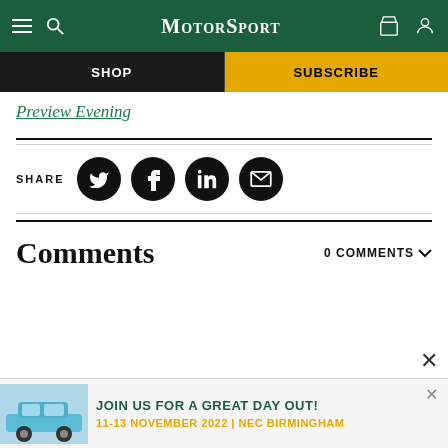MotorSport
SHOP | SUBSCRIBE
Preview Evening
SHARE
Comments
0 COMMENTS
[Figure (screenshot): Advertisement banner: blue Porsche car with text JOIN US FOR A GREAT DAY OUT! 11-13 NOVEMBER 2022 | NEC BIRMINGHAM]